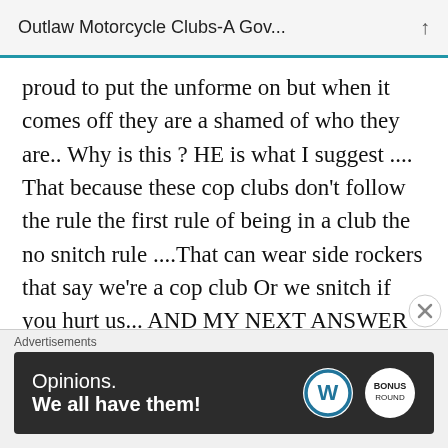Outlaw Motorcycle Clubs-A Gov...
proud to put the unforme on but when it comes off they are a shamed of who they are.. Why is this ? HE is what I suggest .... That because these cop clubs don’t follow the rule the first rule of being in a club the no snitch rule ....That can wear side rockers that say we’re a cop club Or we snitch if you hurt us... AND MY NEXT ANSWER IS WHAT THE FUCK WAS A COP CLUB DOING AT ANY BIKER EVENT IN THE
Advertisements
[Figure (other): Advertisement banner with text 'Opinions. We all have them!' and WordPress and bonus logos on dark background]